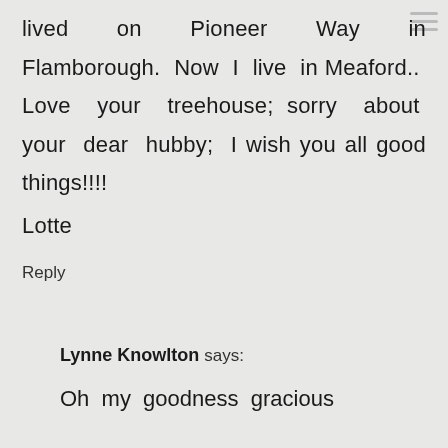lived on Pioneer Way in Flamborough. Now I live in Meaford.. Love your treehouse; sorry about your dear hubby; I wish you all good things!!!! Lotte
Reply
Lynne Knowlton says:
Oh my goodness gracious